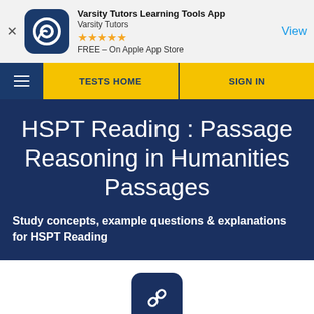[Figure (screenshot): Varsity Tutors app banner with logo, star rating, and View button]
TESTS HOME | SIGN IN
HSPT Reading : Passage Reasoning in Humanities Passages
Study concepts, example questions & explanations for HSPT Reading
[Figure (logo): Chain link icon in dark blue rounded square]
Example Questions